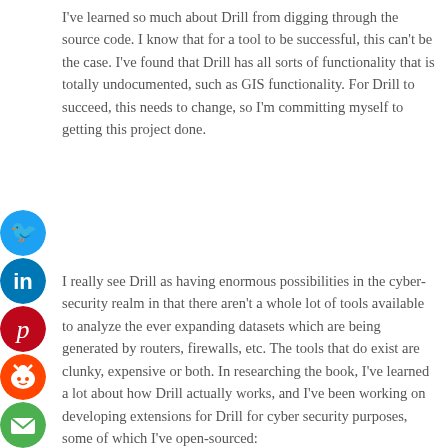I've learned so much about Drill from digging through the source code.  I know that for a tool to be successful, this can't be the case.  I've found that Drill has all sorts of functionality that is totally undocumented, such as GIS functionality.  For Drill to succeed, this needs to change, so I'm committing myself to getting this project done.
[Figure (infographic): Vertical stack of social media share icons: Twitter (blue bird), LinkedIn (blue 'in'), Pinterest (red 'p'), Reddit (orange alien), Email (green envelope), Hacker News (orange 'Y'), Add/Plus (orange plus sign)]
I really see Drill as having enormous possibilities in the cyber-security realm in that there aren't a whole lot of tools available to analyze the ever expanding datasets which are being generated by routers, firewalls, etc.  The tools that do exist are clunky, expensive or both.  In researching the book, I've learned a lot about how Drill actually works, and I've been working on developing extensions for Drill for cyber security purposes, some of which I've open-sourced: